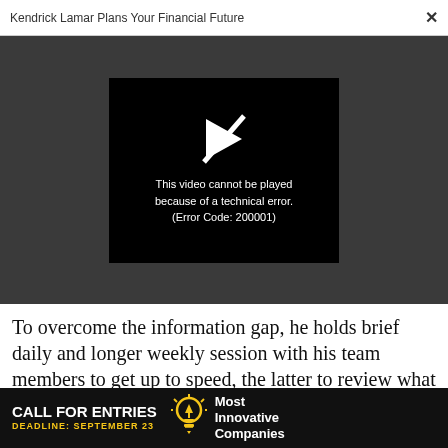Kendrick Lamar Plans Your Financial Future
[Figure (screenshot): Video player showing error: 'This video cannot be played because of a technical error. (Error Code: 200001)']
To overcome the information gap, he holds brief daily and longer weekly session with his team members to get up to speed, the latter to review what was accomplished that week. The team uses Skype to stay in...
[Figure (infographic): Advertisement banner: CALL FOR ENTRIES — DEADLINE: SEPTEMBER 23 — Most Innovative Companies]